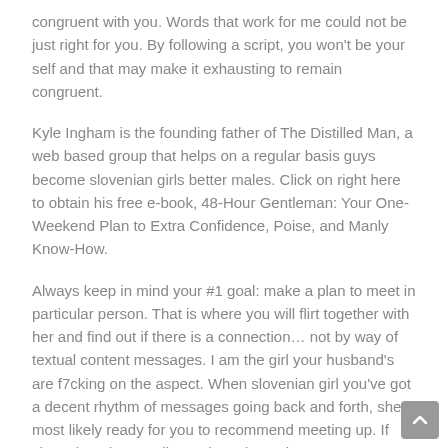congruent with you. Words that work for me could not be just right for you. By following a script, you won't be your self and that may make it exhausting to remain congruent.
Kyle Ingham is the founding father of The Distilled Man, a web based group that helps on a regular basis guys become slovenian girls better males. Click on right here to obtain his free e-book, 48-Hour Gentleman: Your One-Weekend Plan to Extra Confidence, Poise, and Manly Know-How.
Always keep in mind your #1 goal: make a plan to meet in particular person. That is where you will flirt together with her and find out if there is a connection… not by way of textual content messages. I am the girl your husband's are f7cking on the aspect. When slovenian girl you've got a decent rhythm of messages going back and forth, she's most likely ready for you to recommend meeting up. If she's dropping emojis, exclamation points, or LOLs" on you, she's down to satisfy very quickly.